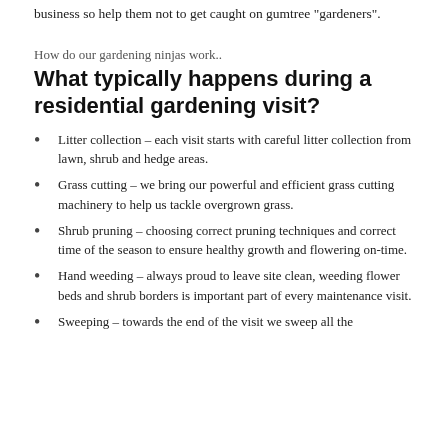business so help them not to get caught on gumtree "gardeners".
How do our gardening ninjas work..
What typically happens during a residential gardening visit?
Litter collection – each visit starts with careful litter collection from lawn, shrub and hedge areas.
Grass cutting – we bring our powerful and efficient grass cutting machinery to help us tackle overgrown grass.
Shrub pruning – choosing correct pruning techniques and correct time of the season to ensure healthy growth and flowering on-time.
Hand weeding – always proud to leave site clean, weeding flower beds and shrub borders is important part of every maintenance visit.
Sweeping – towards the end of the visit we sweep all the